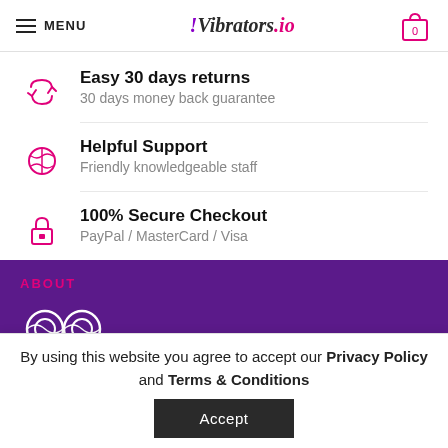MENU | Vibrators.io | Cart 0
Easy 30 days returns
30 days money back guarantee
Helpful Support
Friendly knowledgeable staff
100% Secure Checkout
PayPal / MasterCard / Visa
ABOUT
By using this website you agree to accept our Privacy Policy and Terms & Conditions